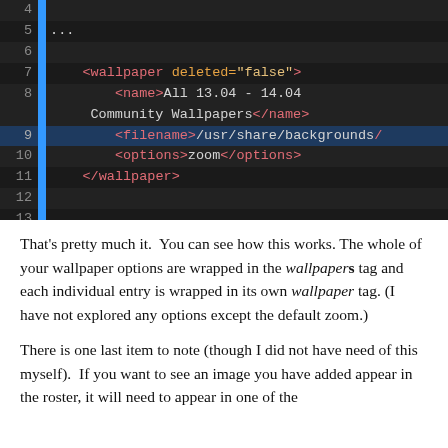[Figure (screenshot): Code editor screenshot showing XML wallpaper configuration, lines 4-15, dark theme with syntax highlighting. Line 9 is selected (highlighted blue). Shows wallpaper XML tags in red/orange/yellow on dark background.]
That's pretty much it. You can see how this works. The whole of your wallpaper options are wrapped in the wallpapers tag and each individual entry is wrapped in its own wallpaper tag. (I have not explored any options except the default zoom.)
There is one last item to note (though I did not have need of this myself). If you want to see an image you have added appear in the roster, it will need to appear in one of the